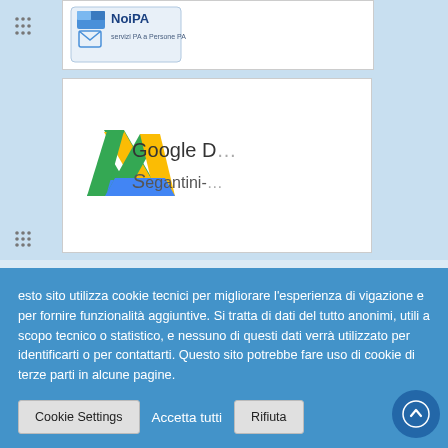[Figure (screenshot): NoiPA logo — servizi PA a Persone PA — browser bookmark card]
[Figure (screenshot): Google Drive bookmark card with Google Drive triangle logo and text 'Google D...' and 'Segantini-...']
fica: 13 Febbraio 2014
ttività: incontro
ze SSI
[Figure (logo): Dark navy button labeled 'Messa a Disposizione']
ettività:
[Figure (logo): Partial blue stylized figure/icon on right side]
esto sito utilizza cookie tecnici per migliorare l'esperienza di vigazione e per fornire funzionalità aggiuntive. Si tratta di dati del tutto anonimi, utili a scopo tecnico o statistico, e nessuno di questi dati verrà utilizzato per identificarti o per contattarti. Questo sito potrebbe fare uso di cookie di terze parti in alcune pagine.
Cookie Settings
Accetta tutti
Rifiuta